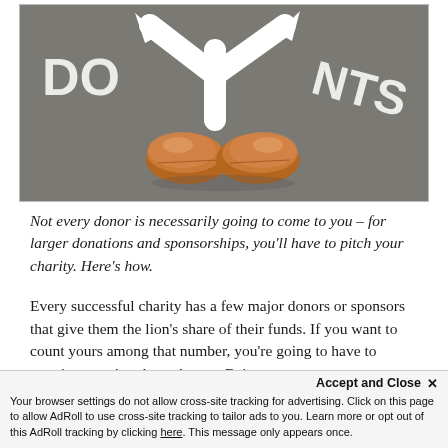[Figure (photo): Overhead view of a person's brown leather shoes standing on a grey carpet floor with white directional arrow markings painted on it, forming a fork/Y-shape. Partial text 'DO' visible on left and 'NTS' visible on right in white letters.]
Not every donor is necessarily going to come to you – for larger donations and sponsorships, you'll have to pitch your charity. Here's how.
Every successful charity has a few major donors or sponsors that give them the lion's share of their funds. If you want to count yours among that number, you're going to have to practice approaching them...
Accept and Close ×
Your browser settings do not allow cross-site tracking for advertising. Click on this page to allow AdRoll to use cross-site tracking to tailor ads to you. Learn more or opt out of this AdRoll tracking by clicking here. This message only appears once.